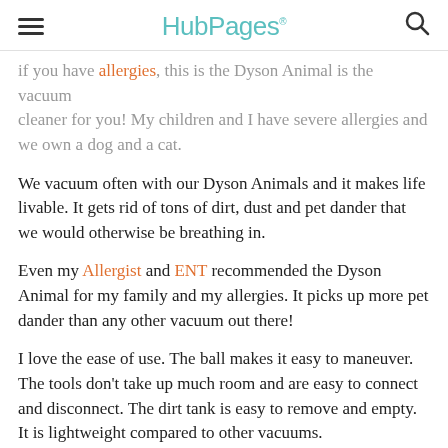HubPages
if you have allergies, this is the Dyson Animal is the vacuum cleaner for you! My children and I have severe allergies and we own a dog and a cat.
We vacuum often with our Dyson Animals and it makes life livable. It gets rid of tons of dirt, dust and pet dander that we would otherwise be breathing in.
Even my Allergist and ENT recommended the Dyson Animal for my family and my allergies. It picks up more pet dander than any other vacuum out there!
I love the ease of use. The ball makes it easy to maneuver. The tools don't take up much room and are easy to connect and disconnect. The dirt tank is easy to remove and empty. It is lightweight compared to other vacuums.
I also love the fact that I never have to buy vacuum bags. This has saved us tons of time and money. I don't have to search for vacuum bags, spend money on them or store